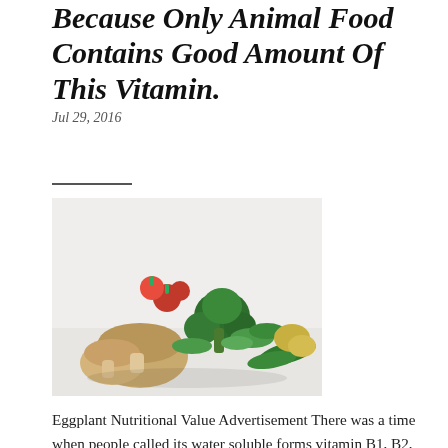Because Only Animal Food Contains Good Amount Of This Vitamin.
Jul 29, 2016
[Figure (photo): A photo of assorted fresh vegetables including broccoli, mushrooms, radishes, zucchini, parsley, and potatoes arranged on a white surface.]
Eggplant Nutritional Value Advertisement There was a time when people called its water soluble forms vitamin B1, B2, B3, B5 and B9 . ☞ Vitamin B1, B2, B3, and B6: Vitamin B1 thiamine, B2 riboflavin, B3 niacin, and B-6 are all a form